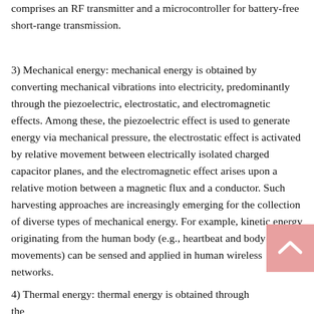comprises an RF transmitter and a microcontroller for battery-free short-range transmission.
3) Mechanical energy: mechanical energy is obtained by converting mechanical vibrations into electricity, predominantly through the piezoelectric, electrostatic, and electromagnetic effects. Among these, the piezoelectric effect is used to generate energy via mechanical pressure, the electrostatic effect is activated by relative movement between electrically isolated charged capacitor planes, and the electromagnetic effect arises upon a relative motion between a magnetic flux and a conductor. Such harvesting approaches are increasingly emerging for the collection of diverse types of mechanical energy. For example, kinetic energy originating from the human body (e.g., heartbeat and body movements) can be sensed and applied in human wireless networks.
4) Thermal energy: thermal energy is obtained through the